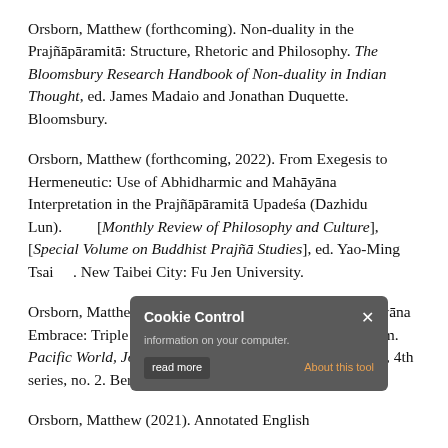Orsborn, Matthew (forthcoming). Non-duality in the Prajñāpāramitā: Structure, Rhetoric and Philosophy. The Bloomsbury Research Handbook of Non-duality in Indian Thought, ed. James Madaio and Jonathan Duquette. Bloomsbury.
Orsborn, Matthew (forthcoming, 2022). From Exegesis to Hermeneutic: Use of Abhidharmic and Mahāyāna Interpretation in the Prajñāpāramitā Upadeśa (Dazhidu Lun). [Monthly Review of Philosophy and Culture], [Special Volume on Buddhist Prajñā Studies], ed. Yao-Ming Tsai. New Taibei City: Fu Jen University.
Orsborn, Matthew (2021). Śrāvaka Ordination in a Mahāyāna Embrace: Triple Platform Ordination in Chinese Buddhism. Pacific World, Journal of the Institute of Buddhist Studies, 4th series, no. 2. Berkeley: Institute of Buddhist Studies.
Orsborn, Matthew (2021). Annotated English Translation of the [incomplete, cut off]